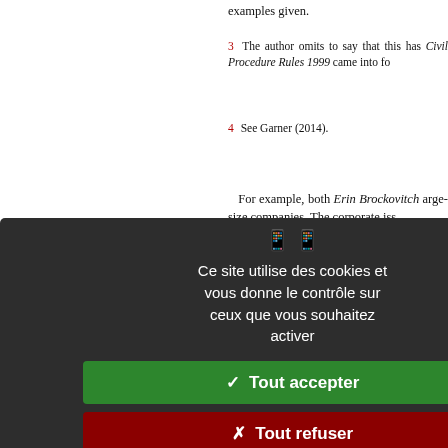examples given.
3  The author omits to say that this has Civil Procedure Rules 1999 came into fo
4  See Garner (2014).
For example, both Erin Brockovitch arge-size companies. The corporate iss
Who presided over the committee whi
See, for example, Department of Tra 2015); Kerry, Secretary of State, et al. LC v. Scientific-Atlanta, Inc 443 F. 3d 9
Amongst many other examples, see D 10 U.S. 113 (1973).
The part played by 'judge-made' la udicial interpretation of statutory proviso
0  As confirmed in Halsey v. Milton Key
1  For an example pertaining to Englan
[Figure (screenshot): Cookie consent overlay in French with dark background. Contains cookie/mobile icons, message 'Ce site utilise des cookies et vous donne le contrôle sur ceux que vous souhaitez activer', three buttons: green 'Tout accepter', red 'Tout refuser', white 'Personnaliser', and 'Politique de confidentialité' link.]